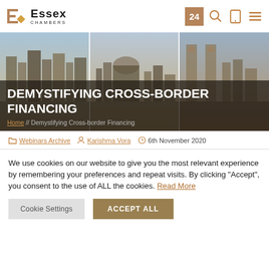Essex Chambers | 24 | navigation icons
[Figure (photo): Hero image showing three cityscape skyline panels (London, Singapore, Kuala Lumpur) with a dark overlay containing the page title and breadcrumb navigation]
DEMYSTIFYING CROSS-BORDER FINANCING
Home // Demystifying Cross-border Financing
Webinars Archive   Karishma Vora   6th November 2020
We use cookies on our website to give you the most relevant experience by remembering your preferences and repeat visits. By clicking “Accept”, you consent to the use of ALL the cookies. Read More
Cookie Settings   ACCEPT ALL